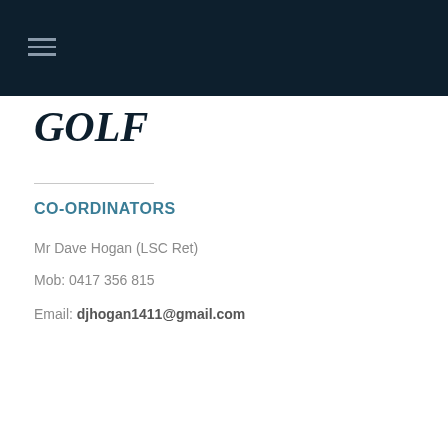≡
GOLF
CO-ORDINATORS
Mr Dave Hogan (LSC Ret)
Mob: 0417 356 815
Email: djhogan1411@gmail.com